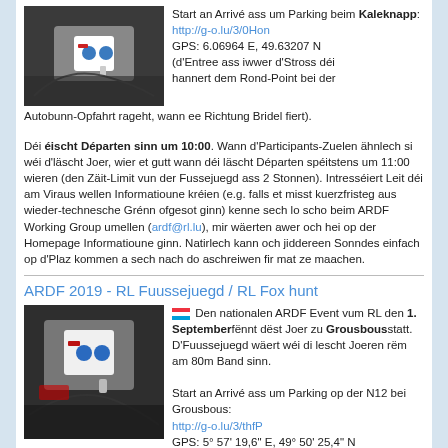[Figure (photo): Person holding a white handheld device with blue buttons]
Start an Arrivé ass um Parking beim Kaleknapp: http://g-o.lu/3/0Hon GPS: 6.06964 E, 49.63207 N (d'Entree ass iwwer d'Stross déi hannert dem Rond-Point bei der Autobunn-Opfahrt rageht, wann ee Richtung Bridel fiert).
Déi éischt Départen sinn um 10:00. Wann d'Participants-Zuelen ähnlech si wéi d'läscht Joer, wier et gutt wann déi läscht Départen spéitstens um 11:00 wieren (den Zäit-Limit vun der Fussejuegd ass 2 Stonnen). Intresséiert Leit déi am Viraus wellen Informatioune kréien (e.g. falls et misst kuerzfristeg aus wieder-technesche Grénn ofgesot ginn) kenne sech lo scho beim ARDF Working Group umellen (ardf@rl.lu), mir wäerten awer och hei op der Homepage Informatioune ginn. Natirlech kann och jiddereen Sonndes einfach op d'Plaz kommen a sech nach do aschreiwen fir mat ze maachen.
ARDF 2019 - RL Fuussejuegd / RL Fox hunt
[Figure (photo): Person holding a white handheld device with blue buttons outdoors]
Den nationalen ARDF Event vum RL den 1. Septemberfënnt dëst Joer zu Grousbousstatt. D'Fuussejuegd wäert wéi di lescht Joeren rëm am 80m Band sinn. Start an Arrivé ass um Parking op der N12 bei Grousbous: http://g-o.lu/3/thfP GPS: 5° 57' 19,6" E, 49° 50' 25,4" N